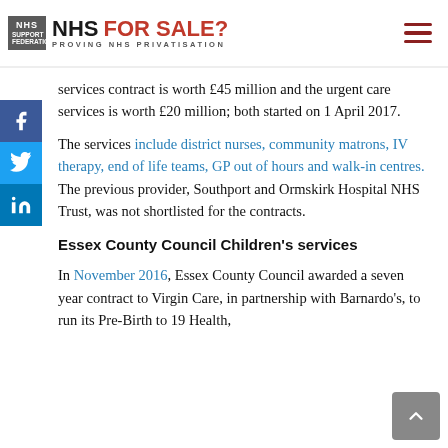NHS FOR SALE? PROVING NHS PRIVATISATION
services contract is worth £45 million and the urgent care services is worth £20 million; both started on 1 April 2017.
The services include district nurses, community matrons, IV therapy, end of life teams, GP out of hours and walk-in centres. The previous provider, Southport and Ormskirk Hospital NHS Trust, was not shortlisted for the contracts.
Essex County Council Children's services
In November 2016, Essex County Council awarded a seven year contract to Virgin Care, in partnership with Barnardo's, to run its Pre-Birth to 19 Health,